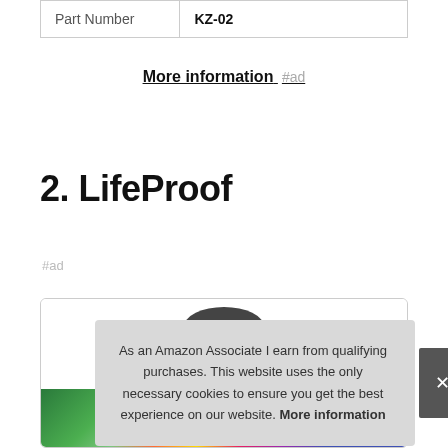| Part Number | KZ-02 |
More information #ad
2. LifeProof
#ad
[Figure (photo): Product card showing a LifeProof item with a dark circular top and colorful multicolor image at the bottom]
As an Amazon Associate I earn from qualifying purchases. This website uses the only necessary cookies to ensure you get the best experience on our website. More information